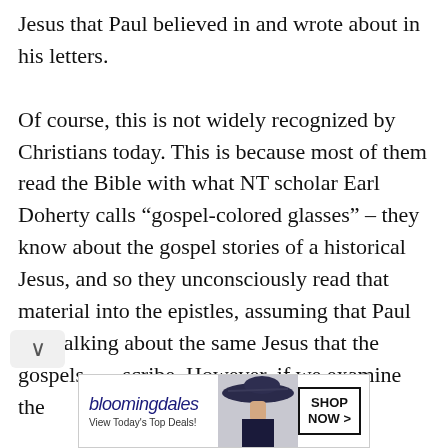Jesus that Paul believed in and wrote about in his letters.

Of course, this is not widely recognized by Christians today. This is because most of them read the Bible with what NT scholar Earl Doherty calls “gospel-colored glasses” – they know about the gospel stories of a historical Jesus, and so they unconsciously read that material into the epistles, assuming that Paul was talking about the same Jesus that the gospels describe. However, if we examine the
[Figure (other): Bloomingdale's advertisement banner: 'View Today's Top Deals!' with a woman in a wide-brim hat and a 'SHOP NOW >' button]